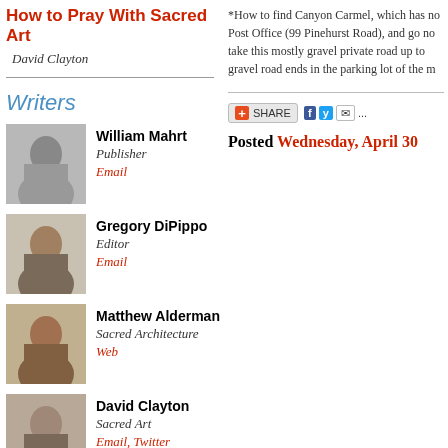How to Pray With Sacred Art
David Clayton
Writers
William Mahrt
Publisher
Email
Gregory DiPippo
Editor
Email
Matthew Alderman
Sacred Architecture
Web
David Clayton
Sacred Art
Email, Twitter
*How to find Canyon Carmel, which has no... Post Office (99 Pinehurst Road), and go no... take this mostly gravel private road up to... gravel road ends in the parking lot of the m...
Posted Wednesday, April 30